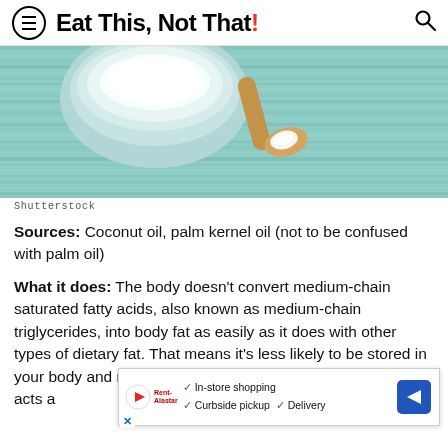Eat This, Not That!
[Figure (photo): Bowl and wooden spoon with white coconut oil on a teal/turquoise wooden surface]
Shutterstock
Sources: Coconut oil, palm kernel oil (not to be confused with palm oil)
What it does: The body doesn't convert medium-chain saturated fatty acids, also known as medium-chain triglycerides, into body fat as easily as it does with other types of dietary fat. That means it's less likely to be stored in your body and more [ad overlay] id acts a [ad overlay] ,